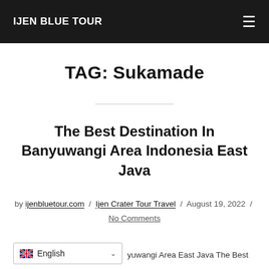IJEN BLUE TOUR
TAG: Sukamade
The Best Destination In Banyuwangi Area Indonesia East Java
by ijenbluetour.com / Ijen Crater Tour Travel / August 19, 2022 / No Comments
T... yuwangi Area East Java The Best